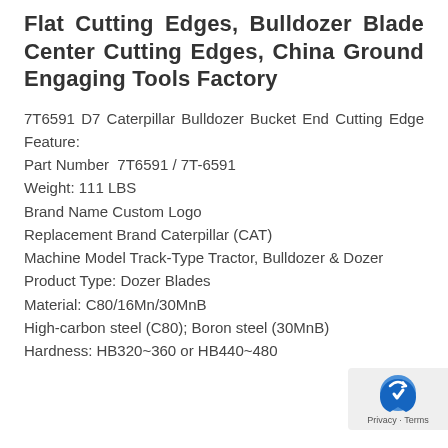Flat Cutting Edges, Bulldozer Blade Center Cutting Edges, China Ground Engaging Tools Factory
7T6591 D7 Caterpillar Bulldozer Bucket End Cutting Edge Feature:
Part Number  7T6591 / 7T-6591
Weight: 111 LBS
Brand Name Custom Logo
Replacement Brand Caterpillar (CAT)
Machine Model Track-Type Tractor, Bulldozer & Dozer
Product Type: Dozer Blades
Material: C80/16Mn/30MnB
High-carbon steel (C80); Boron steel (30MnB)
Hardness: HB320~360 or HB440~480